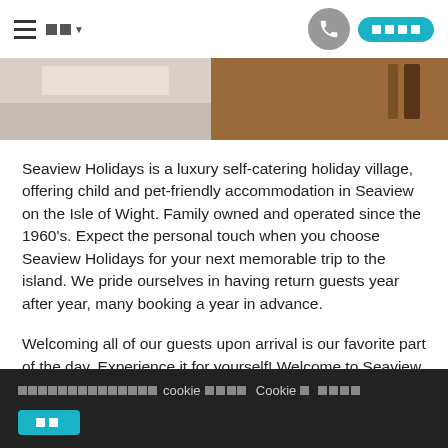☰ □□ ▼   [phone] [□□□□]
[Figure (photo): Partial photo strip showing interior room detail — left side light/white tones, right side warm brown wood tones]
Seaview Holidays is a luxury self-catering holiday village, offering child and pet-friendly accommodation in Seaview on the Isle of Wight. Family owned and operated since the 1960's. Expect the personal touch when you choose Seaview Holidays for your next memorable trip to the island. We pride ourselves in having return guests year after year, many booking a year in advance.
Welcoming all of our guests upon arrival is our favorite part of the day. Experience it for yourself! Welcome to Seaview Holidays.
□□□□□□□□□□□□□□□cookie □□□□ Cookie□ □□□□  [同意]